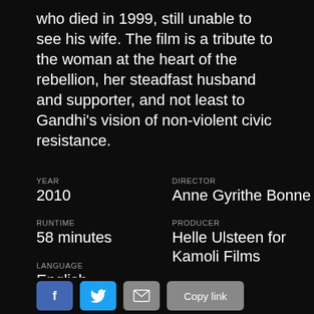who died in 1999, still unable to see his wife. The film is a tribute to the woman at the heart of the rebellion, her steadfast husband and supporter, and not least to Gandhi's vision of non-violent civic resistance.
YEAR
2010
RUNTIME
58 minutes
LANGUAGE
English
COUNTRY
United Kingdom
DIRECTOR
Anne Gyrithe Bonne
PRODUCER
Helle Ulsteen for Kamoli Films
CINEMATOGRAPHER
Erik Molberg Hansen
EDITOR
Ghita Beckendorff, Torben Schiøtt
MUSIC
Povl Kristian